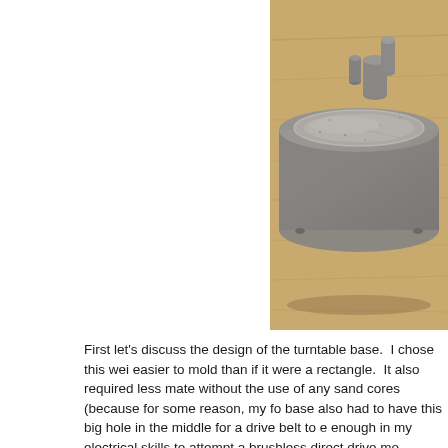[Figure (photo): A circular sand-cast aluminum turntable base sitting on a wooden surface. The casting is grayish with sandy texture. There are small protruding bolt/screw features visible inside the bowl-shaped casting. The wood grain of the table is visible around the piece.]
First let's discuss the design of the turntable base.  I chose this wei easier to mold than if it were a rectangle.  It also required less mate without the use of any sand cores (because for some reason, my fo base also had to have this big hole in the middle for a drive belt to enough in my electrical skills to attempt a brushless direct drive mo